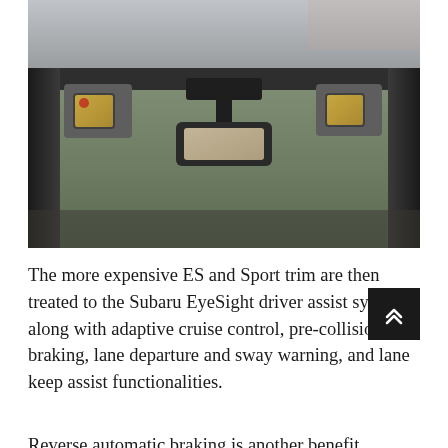[Figure (photo): Interior view of a Subaru vehicle showing the EyeSight dual-camera system mounted at the top of the windshield near the rearview mirror, with camera pods visible on the left and right sides of the windshield frame.]
The more expensive ES and Sport trim are then treated to the Subaru EyeSight driver assist system, along with adaptive cruise control, pre-collision braking, lane departure and sway warning, and lane keep assist functionalities.
Reverse automatic braking is another benefit